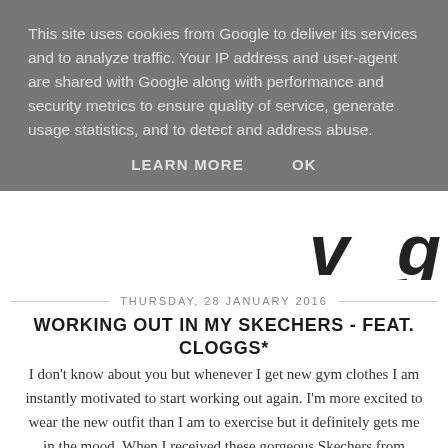This site uses cookies from Google to deliver its services and to analyze traffic. Your IP address and user-agent are shared with Google along with performance and security metrics to ensure quality of service, generate usage statistics, and to detect and address abuse.
LEARN MORE    OK
[Figure (screenshot): Partial blog logo or header graphic showing large italic letters at bottom right of the overlay area]
THURSDAY, 28 JANUARY 2016
WORKING OUT IN MY SKECHERS - FEAT. CLOGGS*
I don't know about you but whenever I get new gym clothes I am instantly motivated to start working out again. I'm more excited to wear the new outfit than I am to exercise but it definitely gets me in the mood. When I received these gorgeous Skechers from Cloggs, available at £49, I couldn't wait to test them out and add them to my gym bag.